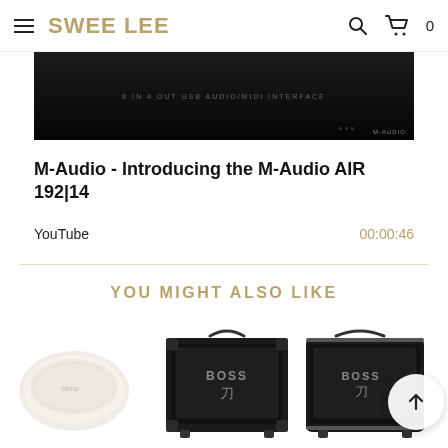SWEE LEE
[Figure (screenshot): M-Audio AIR 192|14 audio interface product video thumbnail — dark/black background with white text overlay]
M-Audio - Introducing the M-Audio AIR 192|14
YouTube    00:00:46
YOU MIGHT ALSO LIKE
[Figure (photo): White/cream padded guitar strap or case accessory (Mono brand)]
[Figure (photo): Boss Katana guitar amplifier — black combo amp with Boss logo]
[Figure (photo): Boss guitar amplifier — black, partially visible on right edge, with scroll-to-top button overlay]